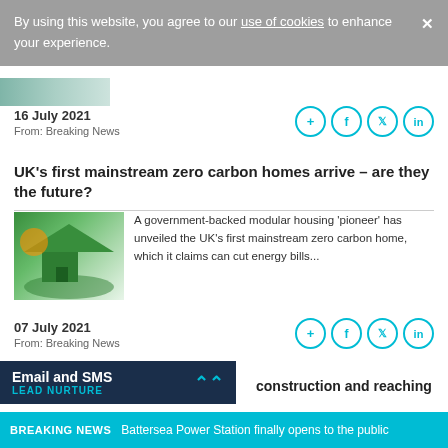By using this website, you agree to our use of cookies to enhance your experience.
16 July 2021
From: Breaking News
UK's first mainstream zero carbon homes arrive – are they the future?
[Figure (photo): Green house shape held by hands in a grassy outdoor scene]
A government-backed modular housing 'pioneer' has unveiled the UK's first mainstream zero carbon home, which it claims can cut energy bills...
07 July 2021
From: Breaking News
Email and SMS
LEAD NURTURE
construction and reaching
BREAKING NEWS  Battersea Power Station finally opens to the public